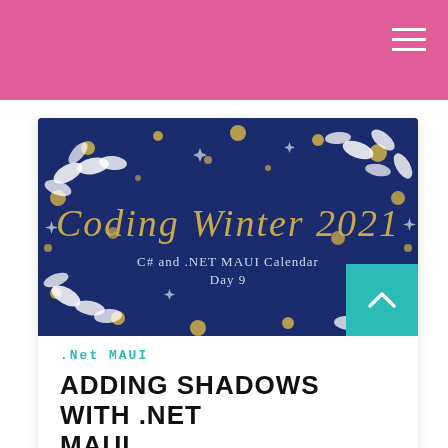[Figure (illustration): Coding Winter 2021 banner image on a dark navy blue background with gold dots, white leaf decorations, and script text reading 'Coding Winter 2021' with subtitle 'C# and .NET MAUI Calendar Day 9']
.Net MAUI
ADDING SHADOWS WITH .NET MAUI